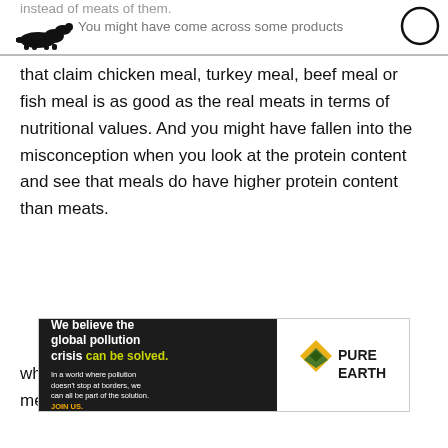instead of meats of them.
You might have come across some products that claim chicken meal, turkey meal, beef meal or fish meal is as good as the real meats in terms of nutritional values. And you might have fallen into the misconception when you look at the protein content and see that meals do have higher protein content than meats.
Yet, as we said, it is a misconception. There are whole lot of things so consider before saying that meals have more nutritional value
[Figure (infographic): Pure Earth advertisement banner: dark background with text 'We believe the global pollution crisis can be solved.' and 'In a world where pollution doesn't stop at borders, we can all be part of the solution. JOIN US.' with Pure Earth logo on white background.]